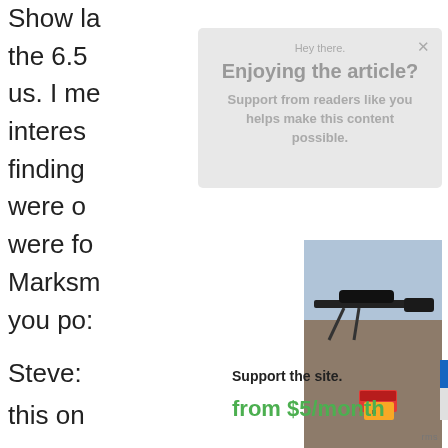Show la... the 6.5... us. I me... interes... finding... were o... were fo... Marksr... you po:
[Figure (screenshot): Modal popup overlay with 'Hey there. Enjoying the article? Support from readers like you helps make this content possible.' with an X close button, on a light gray background]
[Figure (photo): Photograph of a black precision rifle with a scope and bipod resting on a log outdoors, with ammunition boxes nearby]
Steve:
this on
Support the site.
from $5/month